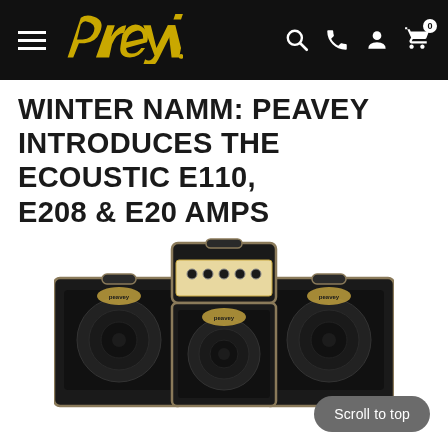Peavey — navigation header with logo, hamburger menu, search, phone, account, and cart icons
WINTER NAMM: PEAVEY INTRODUCES THE ECOUSTIC E110, E208 & E20 AMPS
[Figure (photo): Three Peavey Ecoustic amplifiers — two large speaker cabinets on the sides and a smaller combo amp in the center-top — all in black with tan/gold trim and Peavey logo badges.]
Scroll to top